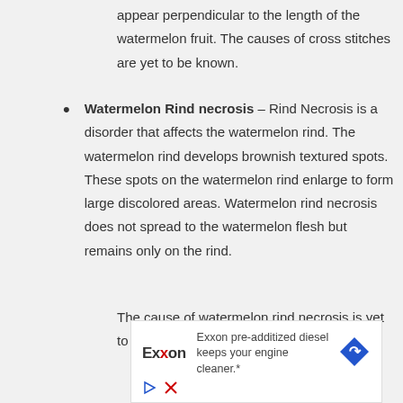appear perpendicular to the length of the watermelon fruit. The causes of cross stitches are yet to be known.
Watermelon Rind necrosis – Rind Necrosis is a disorder that affects the watermelon rind. The watermelon rind develops brownish textured spots. These spots on the watermelon rind enlarge to form large discolored areas. Watermelon rind necrosis does not spread to the watermelon flesh but remains only on the rind.
The cause of watermelon rind necrosis is yet to
[Figure (other): Exxon advertisement: Exxon pre-additized diesel keeps your engine cleaner.*]